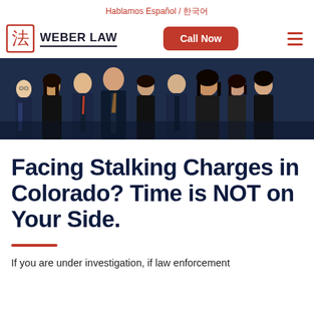Hablamos Español / 한국어
[Figure (logo): Weber Law logo with red Chinese character icon and bold text WEBER LAW, plus Call Now red button and hamburger menu]
[Figure (photo): Group photo of Weber Law attorneys and staff in business attire against dark background]
Facing Stalking Charges in Colorado? Time is NOT on Your Side.
If you are under investigation, if law enforcement